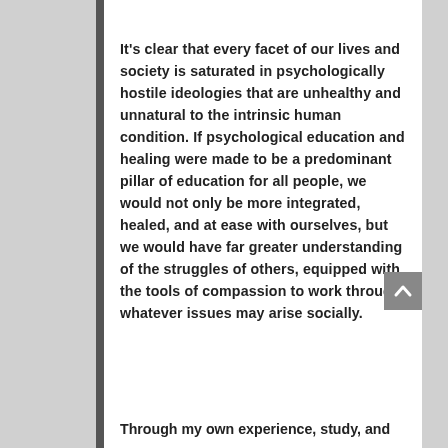It's clear that every facet of our lives and society is saturated in psychologically hostile ideologies that are unhealthy and unnatural to the intrinsic human condition. If psychological education and healing were made to be a predominant pillar of education for all people, we would not only be more integrated, healed, and at ease with ourselves, but we would have far greater understanding of the struggles of others, equipped with the tools of compassion to work through whatever issues may arise socially.
Through my own experience, study, and